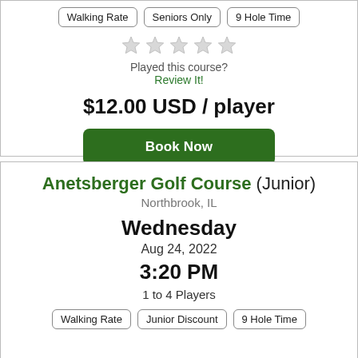Walking Rate
Seniors Only
9 Hole Time
[Figure (other): 5 empty star rating icons]
Played this course?
Review It!
$12.00 USD / player
Book Now
Anetsberger Golf Course (Junior)
Northbrook, IL
Wednesday
Aug 24, 2022
3:20 PM
1 to 4 Players
Walking Rate
Junior Discount
9 Hole Time